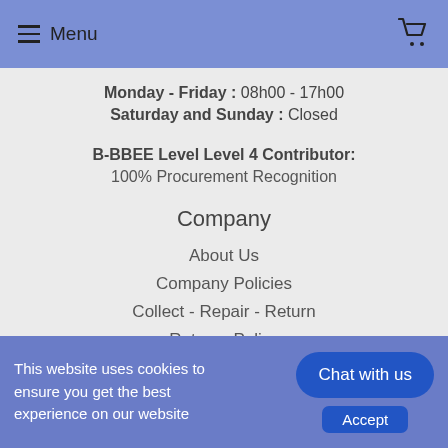Menu
Monday - Friday : 08h00 - 17h00
Saturday and Sunday : Closed
B-BBEE Level Level 4 Contributor: 100% Procurement Recognition
Company
About Us
Company Policies
Collect - Repair - Return
Returns Policy
Terms of Service
Newsletter
This website uses cookies to ensure you get the best experience on our website
Chat with us
Accept